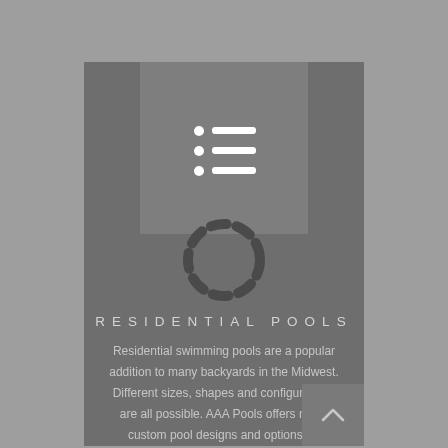[Figure (illustration): List/document icon with three bullet points and horizontal lines on a medium gray square background]
[Figure (illustration): Dashed circular ring icon representing a pool or life saver]
RESIDENTIAL POOLS
Residential swimming pools are a popular addition to many backyards in the Midwest. Different sizes, shapes and configurations are all possible. AAA Pools offers many custom pool designs and options for installing residential pools.